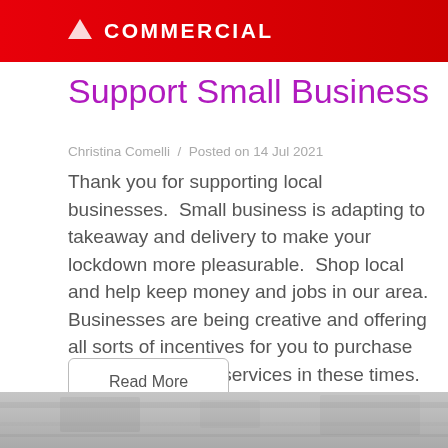COMMERCIAL
Support Small Business
Christina Comelli  /  Posted on 14 Jul 2021
Thank you for supporting local businesses.  Small business is adapting to takeaway and delivery to make your lockdown more pleasurable.  Shop local and help keep money and jobs in our area. Businesses are being creative and offering all sorts of incentives for you to purchase quality goods and services in these times. Everything can be delivered safely to your door.  It ha...
Read More
[Figure (photo): Black and white landscape/outdoor photograph shown partially at the bottom of the page]